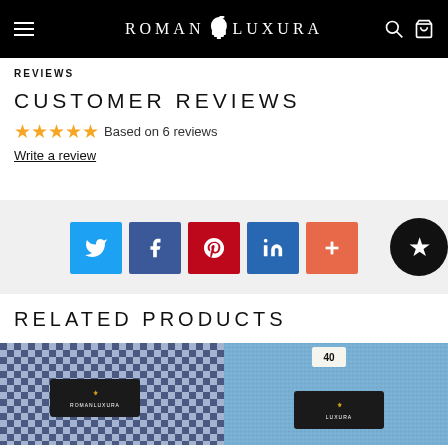ROMAN LUXURA
REVIEWS
CUSTOMER REVIEWS
★★★★★ Based on 6 reviews
Write a review
[Figure (infographic): Social share buttons: Twitter (blue), Facebook (dark blue), Pinterest (red), LinkedIn (blue), Plus/More (orange-red). A black circular star badge on the right edge.]
RELATED PRODUCTS
[Figure (photo): Blue and white gingham/checkered shirt fabric with Roman Luxura tag visible]
[Figure (photo): Light blue textured shirt fabric with Roman Luxura tag and size label '40' visible]